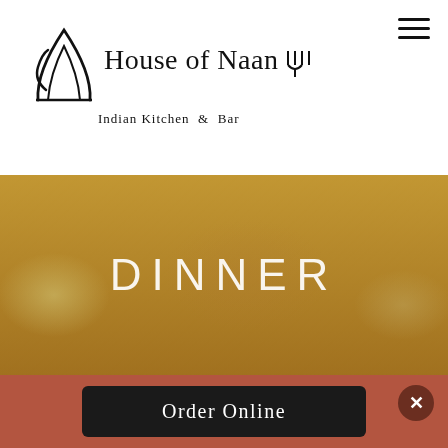[Figure (logo): House of Naan Indian Kitchen & Bar logo with stylized curry/smoke element and fork graphic]
[Figure (photo): Food banner showing Indian food dishes with amber/orange overlay and centered text DINNER]
DINNER
[Figure (other): Terracotta/red-brown bottom section with Order Online button and close (X) button]